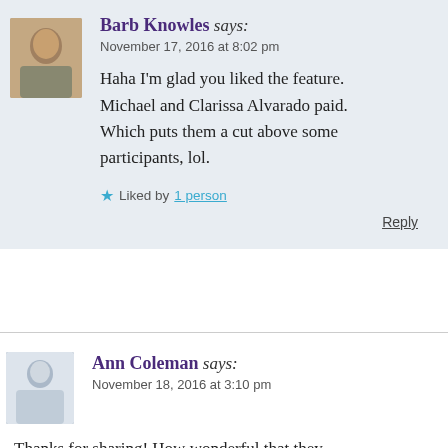Barb Knowles says:
November 17, 2016 at 8:02 pm
Haha I'm glad you liked the feature. Michael and Clarissa Alvarado paid. Which puts them a cut above some participants, lol.
Liked by 1 person
Reply
Ann Coleman says:
November 18, 2016 at 3:10 pm
Thanks for sharing! How wonderful that they if they are as nice as they are talented!